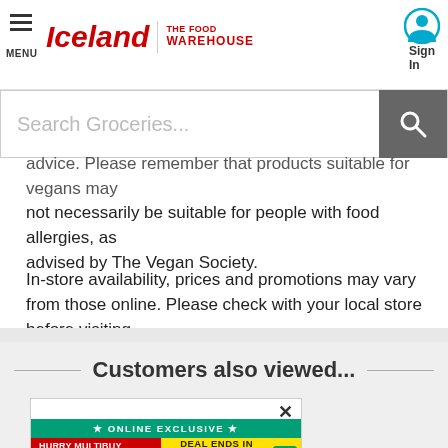MENU | Iceland | the food WAREHOUSE | Sign In
[Figure (screenshot): Search Groceries... search bar]
...advice. Please remember that products suitable for vegans may not necessarily be suitable for people with food allergies, as advised by The Vegan Society.
In-store availability, prices and promotions may vary from those online. Please check with your local store before visiting.
Customers also viewed...
[Figure (screenshot): Online exclusive deal banner: HURRY MULTIBUY MADNESS ENDS TODAY, DEAL ENDS IN 21:12:35 HRS MINS SECS]